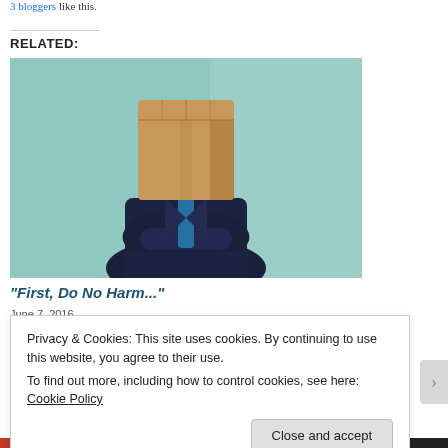3 bloggers like this.
RELATED:
[Figure (photo): A person in a dark suit with arms crossed, wearing a cardboard box over their head, standing against a teal/light blue background.]
“First, Do No Harm...”
June 7, 2016
Privacy & Cookies: This site uses cookies. By continuing to use this website, you agree to their use.
To find out more, including how to control cookies, see here: Cookie Policy